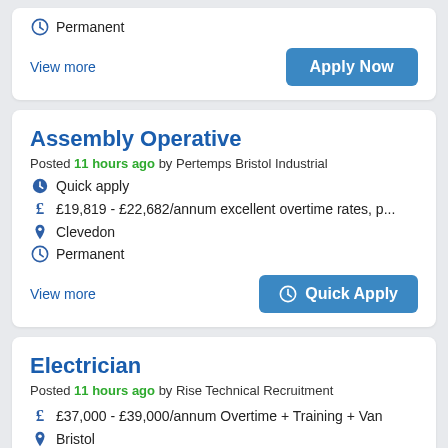Permanent
View more
Apply Now
Assembly Operative
Posted 11 hours ago by Pertemps Bristol Industrial
Quick apply
£19,819 - £22,682/annum excellent overtime rates, p...
Clevedon
Permanent
View more
Quick Apply
Electrician
Posted 11 hours ago by Rise Technical Recruitment
£37,000 - £39,000/annum Overtime + Training + Van
Bristol